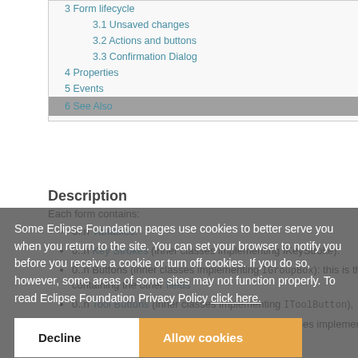3 Form lifecycle
3.1 Unsaved changes
3.2 Actions and buttons
3.3 Confirmation Dialog
4 Properties
5 Events
6 See Also
Description
Each form contains:
0..n Variables.
0..n Key Strokes (inner classes implementing IKeyStroke):
0..n Buttons (inner classes implementing IGroupBox): this is the root GroupBox field containing the other fields
0..n Tool Buttons (inner classes implementing IToolButton),
1..n Form Handlers (usually defined as inner classes implementing IFormHandler, but since the handler is set as parameter of
Some Eclipse Foundation pages use cookies to better serve you when you return to the site. You can set your browser to notify you before you receive a cookie or turn off cookies. If you do so, however, some areas of some sites may not function properly. To read Eclipse Foundation Privacy Policy click here.
Decline
Allow cookies